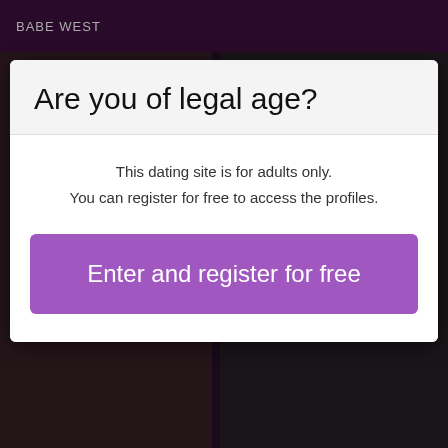BABE WEST
Are you of legal age?
This dating site is for adults only.
You can register for free to access the profiles.
Enter and register for free